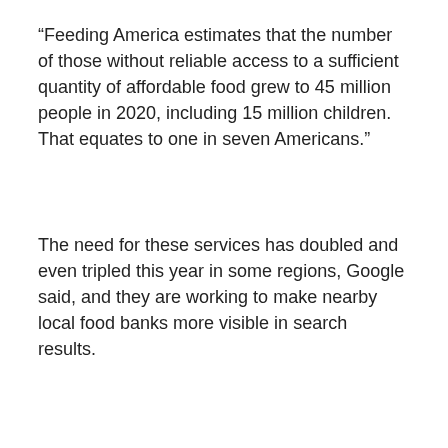“Feeding America estimates that the number of those without reliable access to a sufficient quantity of affordable food grew to 45 million people in 2020, including 15 million children. That equates to one in seven Americans.”
The need for these services has doubled and even tripled this year in some regions, Google said, and they are working to make nearby local food banks more visible in search results.